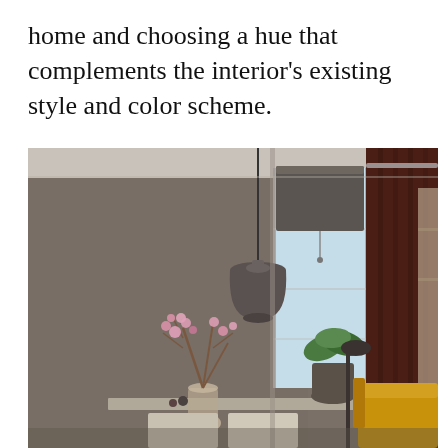home and choosing a hue that complements the interior's existing style and color scheme.
[Figure (photo): Interior dining/living room scene with dark taupe walls, a hanging pendant lamp in dark grey, a vase with pink flowering branches on a table, a bright window with a dark roller blind, dark burgundy curtains on the right, a potted green plant, a yellow armchair, and shelving visible in the background.]